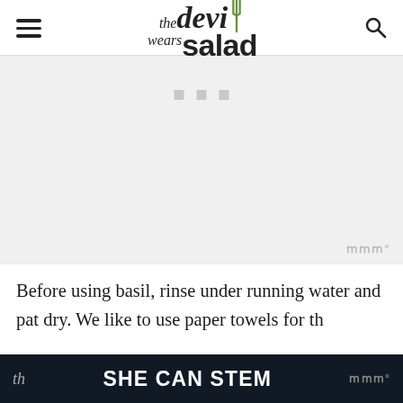the devil wears salad
[Figure (other): Advertisement / loading placeholder area with three small gray squares and a Mediavine badge watermark in the lower right]
Before using basil, rinse under running water and pat dry. We like to use paper towels for th
SHE CAN STEM